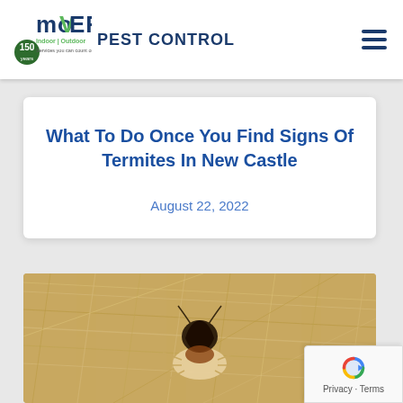MOYER PEST CONTROL
What To Do Once You Find Signs Of Termites In New Castle
August 22, 2022
[Figure (photo): Close-up macro photo of a termite or insect on fibrous material, showing dark head and light body]